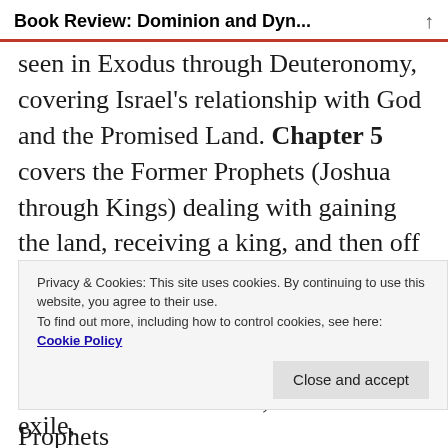Book Review: Dominion and Dyn...
seen in Exodus through Deuteronomy, covering Israel's relationship with God and the Promised Land. Chapter 5 covers the Former Prophets (Joshua through Kings) dealing with gaining the land, receiving a king, and then off to exile.
Chapter 6 brings us to the storyline suspended, the poetic commentary of the earlier OT narrative, the Latter Prophets
Privacy & Cookies: This site uses cookies. By continuing to use this website, you agree to their use.
To find out more, including how to control cookies, see here:
Cookie Policy
Close and accept
Lamentations) covering the return from exile,